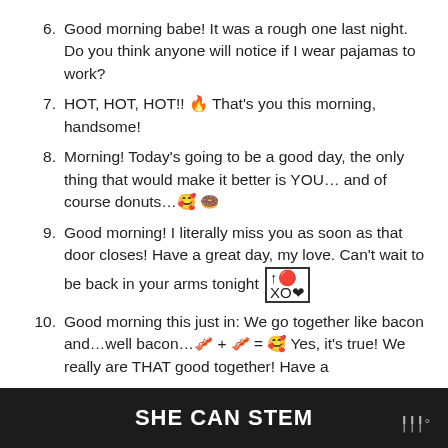6. Good morning babe! It was a rough one last night. Do you think anyone will notice if I wear pajamas to work?
7. HOT, HOT, HOT!! 🔥 That's you this morning, handsome!
8. Morning! Today's going to be a good day, the only thing that would make it better is YOU… and of course donuts…🥰 🍩
9. Good morning! I literally miss you as soon as that door closes! Have a great day, my love. Can't wait to be back in your arms tonight XO❤
10. Good morning this just in: We go together like bacon and…well bacon…🥓 + 🥓 = 🥰 Yes, it's true! We really are THAT good together! Have a
SHE CAN STEM